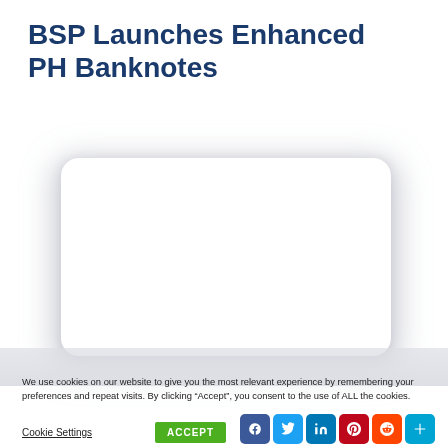BSP Launches Enhanced PH Banknotes
[Figure (other): Blank white rounded rectangle video/image placeholder with shadow]
We use cookies on our website to give you the most relevant experience by remembering your preferences and repeat visits. By clicking “Accept”, you consent to the use of ALL the cookies.
Cookie Settings
ACCEPT